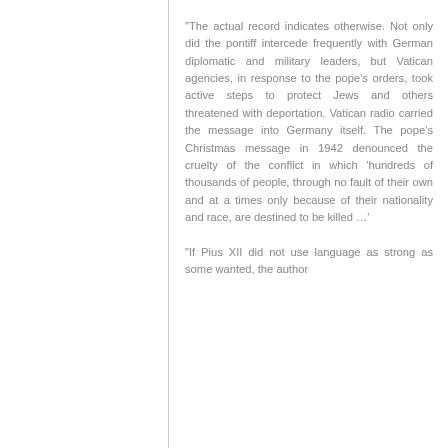“The actual record indicates otherwise. Not only did the pontiff intercede frequently with German diplomatic and military leaders, but Vatican agencies, in response to the pope’s orders, took active steps to protect Jews and others threatened with deportation. Vatican radio carried the message into Germany itself. The pope’s Christmas message in 1942 denounced the cruelty of the conflict in which ‘hundreds of thousands of people, through no fault of their own and at a times only because of their nationality and race, are destined to be killed …’

“If Pius XII did not use language as strong as some wanted, the author